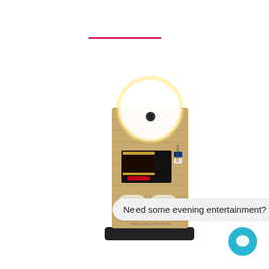[Figure (photo): A wooden-panel photo booth kiosk with a large circular ring light at the top, a camera in the center of the ring, a black touchscreen display panel with a gold frame, two buttons labeled LADIES and GENTS, and a black base platform.]
Need some evening entertainment?